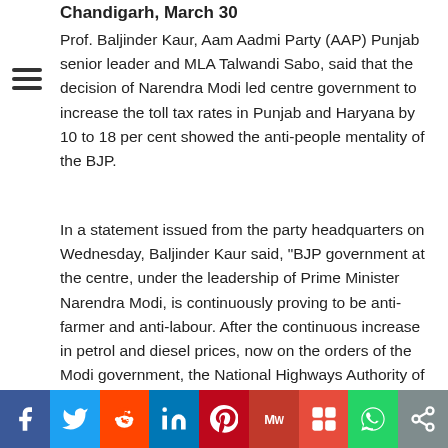Chandigarh, March 30
Prof. Baljinder Kaur, Aam Aadmi Party (AAP) Punjab senior leader and MLA Talwandi Sabo, said that the decision of Narendra Modi led centre government to increase the toll tax rates in Punjab and Haryana by 10 to 18 per cent showed the anti-people mentality of the BJP.
In a statement issued from the party headquarters on Wednesday, Baljinder Kaur said, "BJP government at the centre, under the leadership of Prime Minister Narendra Modi, is continuously proving to be anti-farmer and anti-labour. After the continuous increase in petrol and diesel prices, now on the orders of the Modi government, the National Highways Authority of India (NHAIA) has decided to increase the rates of toll plazas of Punjab by 10 to 18 percent. The new rates will be applicable from April 1 and will be levied at all toll plazas including Patiala and Sangrur."
[Figure (infographic): Social media sharing bar with icons for Facebook, Twitter, Reddit, LinkedIn, Pinterest, MeWe, Mix, WhatsApp, and Share]